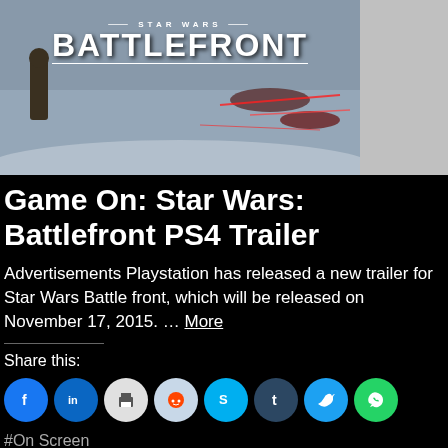[Figure (screenshot): Star Wars Battlefront game promotional image with the Battlefront logo at top, showing soldiers and spacecraft in a snowy battle scene]
Game On: Star Wars: Battlefront PS4 Trailer
Advertisements Playstation has released a new trailer for Star Wars Battle front, which will be released on November 17, 2015. … More
Share this:
#On Screen